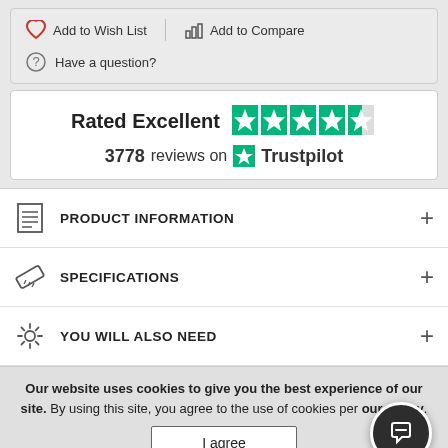Add to Wish List | Add to Compare
Have a question?
[Figure (infographic): Trustpilot rating widget showing 'Rated Excellent' with 4.5 green stars and 3778 reviews on Trustpilot]
PRODUCT INFORMATION
SPECIFICATIONS
YOU WILL ALSO NEED
Our website uses cookies to give you the best experience of our site. By using this site, you agree to the use of cookies per our policy.
I agree